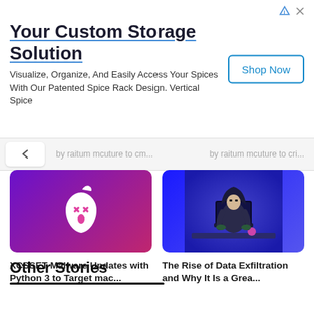[Figure (screenshot): Advertisement banner for 'Your Custom Storage Solution' - Vertical Spice spice rack. Has 'Shop Now' button and ad icons in top right.]
Your Custom Storage Solution
Visualize, Organize, And Easily Access Your Spices With Our Patented Spice Rack Design. Vertical Spice
[Figure (screenshot): Partially visible navigation strip with back chevron and truncated article titles on left and right.]
[Figure (photo): Article thumbnail: Apple logo with X eyes and tongue (XCSSET malware themed image) on purple-to-pink gradient background.]
XCSSET Malware Updates with Python 3 to Target mac...
[Figure (photo): Article thumbnail: 3D rendered hooded figure at laptop on blue background (data exfiltration themed image).]
The Rise of Data Exfiltration and Why It Is a Grea...
Other Stories